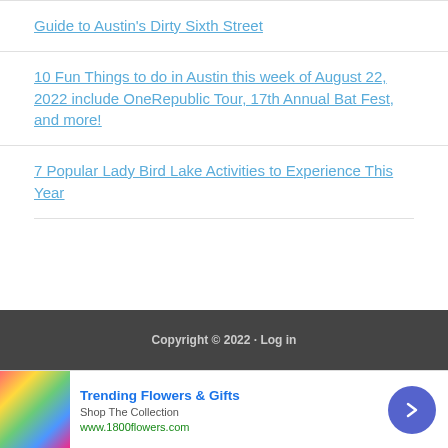Guide to Austin's Dirty Sixth Street
10 Fun Things to do in Austin this week of August 22, 2022 include OneRepublic Tour, 17th Annual Bat Fest, and more!
7 Popular Lady Bird Lake Activities to Experience This Year
Copyright © 2022 · Log in
[Figure (infographic): Advertisement for Trending Flowers & Gifts from 1800flowers.com with flower bouquet image and arrow button]